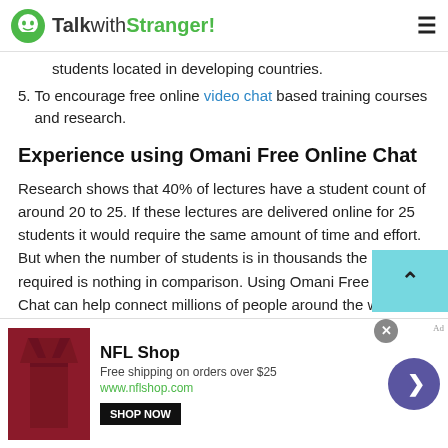TalkwithStranger!
students located in developing countries.
5. To encourage free online video chat based training courses and research.
Experience using Omani Free Online Chat
Research shows that 40% of lectures have a student count of around 20 to 25. If these lectures are delivered online for 25 students it would require the same amount of time and effort. But when the number of students is in thousands the effort required is nothing in comparison. Using Omani Free Online Chat can help connect millions of people around the world. It can help us share your
[Figure (screenshot): NFL Shop advertisement banner with jersey image, shop now button, and navigation arrow]